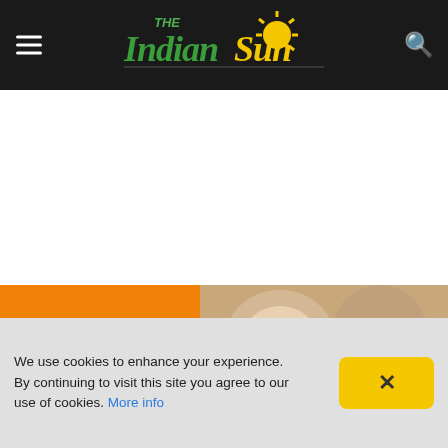The Indian Sun — navigation header
[Figure (screenshot): Article banner image showing food dishes with orange background and text 'Industrial Take Away For Sale']
We use cookies to enhance your experience. By continuing to visit this site you agree to our use of cookies. More info